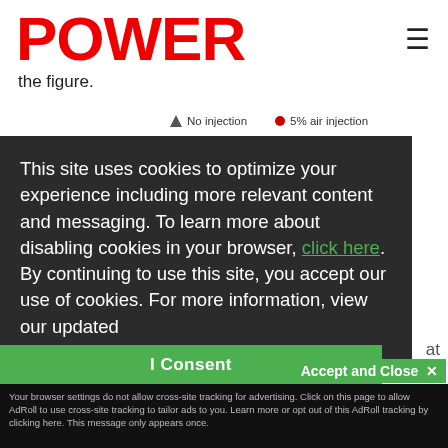POWER
the figure.
[Figure (continuous-plot): Partial chart legend showing two series: 'No injection' (triangle marker) and '5% air injection' (red circle marker)]
This site uses cookies to optimize your experience including more relevant content and messaging. To learn more about disabling cookies in your browser, click here. By continuing to use this site, you accept our use of cookies. For more information, view our updated Privacy Policy.
I Consent
Accept and Close ✕
Your browser settings do not allow cross-site tracking for advertising. Click on this page to allow AdRoll to use cross-site tracking to tailor ads to you. Learn more or opt out of this AdRoll tracking by clicking here. This message only appears once.